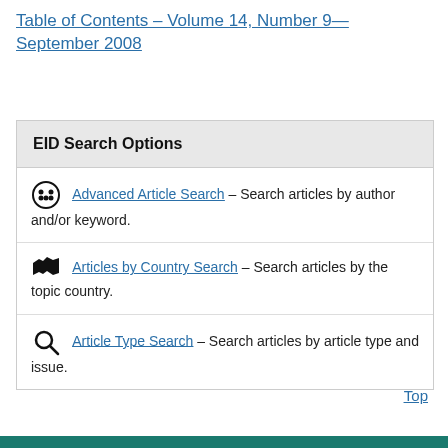Table of Contents – Volume 14, Number 9—September 2008
EID Search Options
Advanced Article Search – Search articles by author and/or keyword.
Articles by Country Search – Search articles by the topic country.
Article Type Search – Search articles by article type and issue.
Top